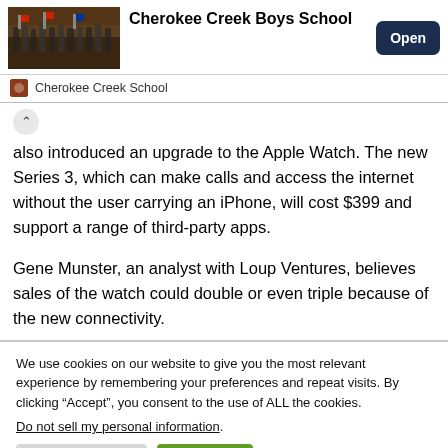[Figure (screenshot): Ad banner for Cherokee Creek Boys School with a group photo of students and an Open button]
Cherokee Creek Boys School
Cherokee Creek School
also introduced an upgrade to the Apple Watch. The new Series 3, which can make calls and access the internet without the user carrying an iPhone, will cost $399 and support a range of third-party apps.

Gene Munster, an analyst with Loup Ventures, believes sales of the watch could double or even triple because of the new connectivity.
We use cookies on our website to give you the most relevant experience by remembering your preferences and repeat visits. By clicking “Accept”, you consent to the use of ALL the cookies.
Do not sell my personal information.